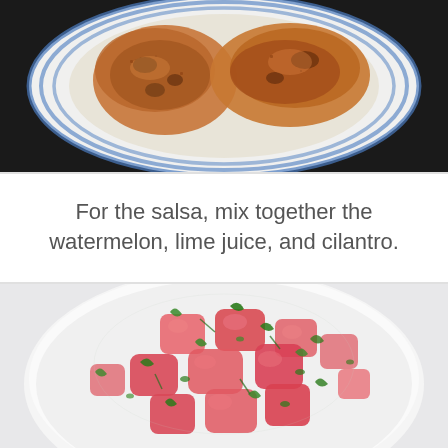[Figure (photo): A photo of grilled or baked chicken pieces on a blue and white striped plate, viewed from above.]
For the salsa, mix together the watermelon, lime juice, and cilantro.
[Figure (photo): A photo of a watermelon salsa in a white bowl, showing chunks of watermelon mixed with fresh cilantro leaves.]